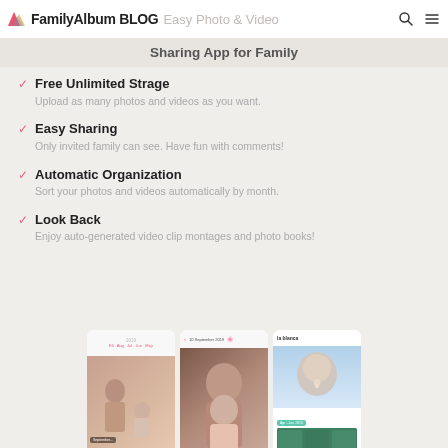FamilyAlbum BLOG Easy Photo & Video Sharing App for Family
Sharing App for Family
Free Unlimited Strage
Upload as many photos and videos as you want.
Easy Sharing
Only invited family can see. Have fun with comments!
Automatic Organization
Sort your photos and videos automatically by month.
Look Back
Enjoy auto-generated video clip montages and photo books!
[Figure (screenshot): Three mobile app screenshots showing FamilyAlbum app: a photo grid with mother and baby, a single photo of child, and a baby profile view with quarterly summary]